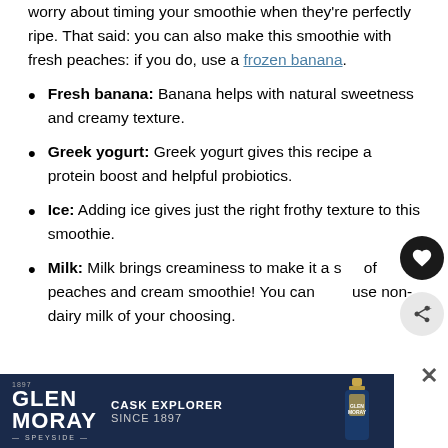worry about timing your smoothie when they're perfectly ripe. That said: you can also make this smoothie with fresh peaches: if you do, use a frozen banana.
Fresh banana: Banana helps with natural sweetness and creamy texture.
Greek yogurt: Greek yogurt gives this recipe a protein boost and helpful probiotics.
Ice: Adding ice gives just the right frothy texture to this smoothie.
Milk: Milk brings creaminess to make it a sort of peaches and cream smoothie! You can also use non-dairy milk of your choosing.
[Figure (other): Glen Moray Speyside whisky advertisement banner with dark blue background, logo, 'Cask Explorer Since 1897' text, and whisky bottle image]